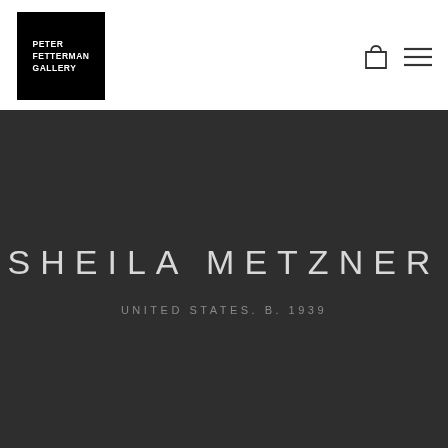[Figure (logo): Peter Fetterman Gallery logo — white text on black square background reading PETER FETTERMAN GALLERY]
[Figure (other): Shopping bag icon and hamburger menu icon in the top-right header area]
SHEILA METZNER
UNITED STATES. B. 1939